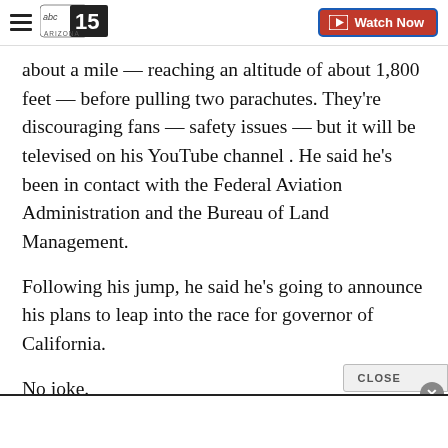abc15 ARIZONA — Watch Now
about a mile — reaching an altitude of about 1,800 feet — before pulling two parachutes. They're discouraging fans — safety issues — but it will be televised on his YouTube channel . He said he's been in contact with the Federal Aviation Administration and the Bureau of Land Management.
Following his jump, he said he's going to announce his plans to leap into the race for governor of California.
No joke.